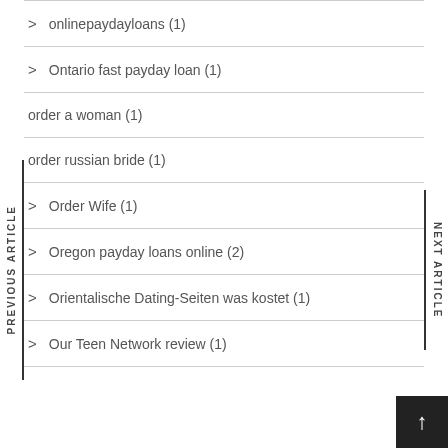onlinepaydayloans (1)
Ontario fast payday loan (1)
order a woman (1)
order russian bride (1)
Order Wife (1)
Oregon payday loans online (2)
Orientalische Dating-Seiten was kostet (1)
Our Teen Network review (1)